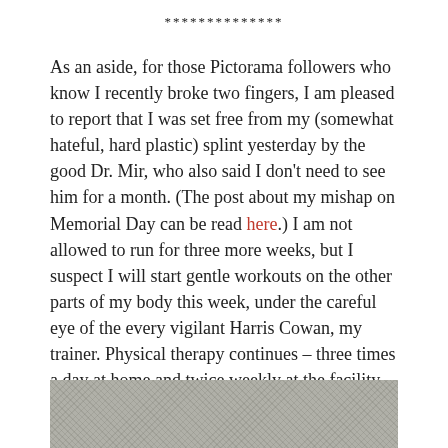**************
As an aside, for those Pictorama followers who know I recently broke two fingers, I am pleased to report that I was set free from my (somewhat hateful, hard plastic) splint yesterday by the good Dr. Mir, who also said I don't need to see him for a month. (The post about my mishap on Memorial Day can be read here.) I am not allowed to run for three more weeks, but I suspect I will start gentle workouts on the other parts of my body this week, under the careful eye of the every vigilant Harris Cowan, my trainer. Physical therapy continues – three times a day at home and twice weekly at the facility on 87th Street.
I am actually typing this post, albeit slowly, with both hands. The word Felix is a tough reach for my ring finger, but I am pleased in general to see the wounded fingers respond to being put through their paces!
[Figure (photo): A grainy black and white photograph showing a textured surface, partially visible at the bottom of the page.]